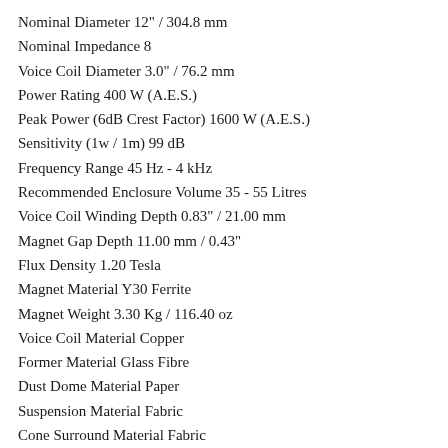Nominal Diameter 12" / 304.8 mm
Nominal Impedance 8
Voice Coil Diameter 3.0" / 76.2 mm
Power Rating 400 W (A.E.S.)
Peak Power (6dB Crest Factor) 1600 W (A.E.S.)
Sensitivity (1w / 1m) 99 dB
Frequency Range 45 Hz - 4 kHz
Recommended Enclosure Volume 35 - 55 Litres
Voice Coil Winding Depth 0.83" / 21.00 mm
Magnet Gap Depth 11.00 mm / 0.43"
Flux Density 1.20 Tesla
Magnet Material Y30 Ferrite
Magnet Weight 3.30 Kg / 116.40 oz
Voice Coil Material Copper
Former Material Glass Fibre
Dust Dome Material Paper
Suspension Material Fabric
Cone Surround Material Fabric
THIELE SMALL PARAMETERS
Fs 35 Hz
Re 5.5
Qms 7.500
Qes 0.147
Qts 0.144
Le @1k 2.170 mH